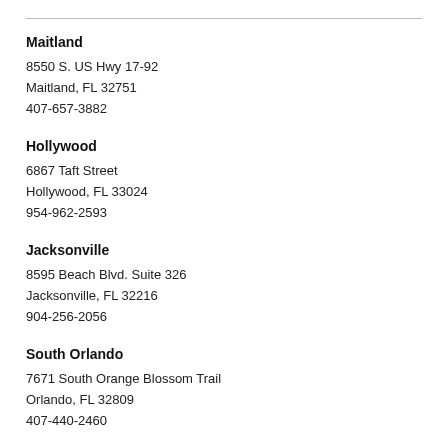Maitland
8550 S. US Hwy 17-92
Maitland, FL 32751
407-657-3882
Hollywood
6867 Taft Street
Hollywood, FL 33024
954-962-2593
Jacksonville
8595 Beach Blvd. Suite 326
Jacksonville, FL 32216
904-256-2056
South Orlando
7671 South Orange Blossom Trail
Orlando, FL 32809
407-440-2460